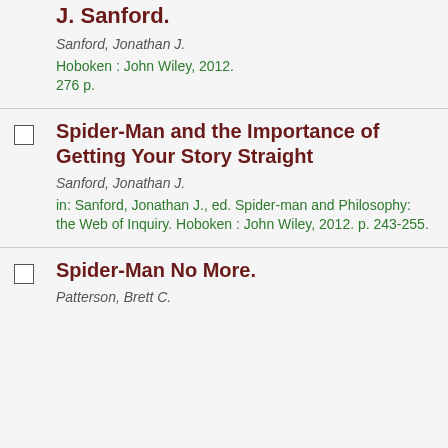J. Sanford.
Sanford, Jonathan J.
Hoboken : John Wiley, 2012. 276 p.
Spider-Man and the Importance of Getting Your Story Straight
Sanford, Jonathan J.
in: Sanford, Jonathan J., ed. Spider-man and Philosophy: the Web of Inquiry. Hoboken : John Wiley, 2012. p. 243-255.
Spider-Man No More.
Patterson, Brett C.